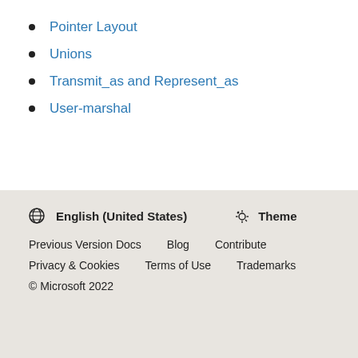Pointer Layout
Unions
Transmit_as and Represent_as
User-marshal
🌐 English (United States)  ☼ Theme
Previous Version Docs   Blog   Contribute
Privacy & Cookies   Terms of Use   Trademarks
© Microsoft 2022